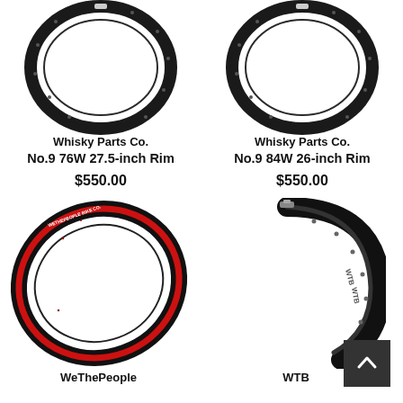[Figure (photo): Whisky Parts Co. No.9 76W 27.5-inch carbon bicycle rim, black, top-left product]
Whisky Parts Co.
No.9 76W 27.5-inch Rim
$550.00
[Figure (photo): Whisky Parts Co. No.9 84W 26-inch carbon bicycle rim, black, top-right product]
Whisky Parts Co.
No.9 84W 26-inch Rim
$550.00
[Figure (photo): WeThePeople bicycle rim, black with red stripe and white text, bottom-left product]
WeThePeople
[Figure (photo): WTB bicycle rim segment, black, bottom-right product]
WTB